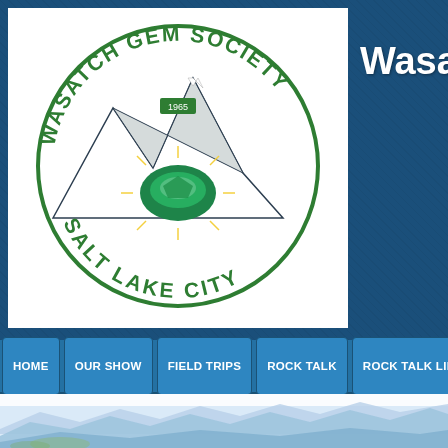[Figure (logo): Wasatch Gem Society circular logo with mountains, gem stone, and text 'WASATCH GEM SOCIETY SALT LAKE CITY' on white background]
Wasatch Gem So
[Figure (screenshot): Navigation bar with buttons: HOME, OUR SHOW, FIELD TRIPS, ROCK TALK, ROCK TALK LIB]
[Figure (photo): Panoramic mountain landscape photo showing blue-tinted mountains in the distance against a white/light sky]